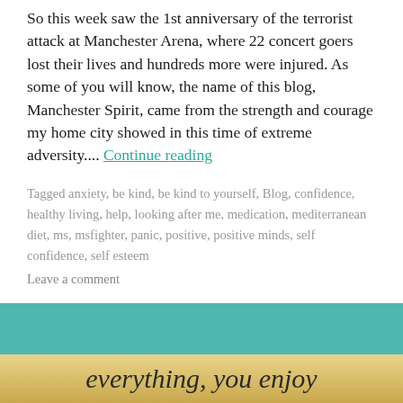So this week saw the 1st anniversary of the terrorist attack at Manchester Arena, where 22 concert goers lost their lives and hundreds more were injured. As some of you will know, the name of this blog, Manchester Spirit, came from the strength and courage my home city showed in this time of extreme adversity.... Continue reading
Tagged anxiety, be kind, be kind to yourself, Blog, confidence, healthy living, help, looking after me, medication, mediterranean diet, ms, msfighter, panic, positive, positive minds, self confidence, self esteem
Leave a comment
[Figure (illustration): Bottom partial banner image with golden/yellow gradient background showing italic text 'everything, you enjoy']